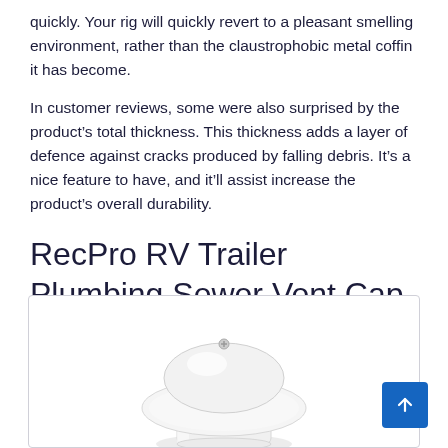quickly. Your rig will quickly revert to a pleasant smelling environment, rather than the claustrophobic metal coffin it has become.
In customer reviews, some were also surprised by the product's total thickness. This thickness adds a layer of defence against cracks produced by falling debris. It's a nice feature to have, and it'll assist increase the product's overall durability.
RecPro RV Trailer Plumbing Sewer Vent Cap with Screw White
[Figure (photo): White mushroom-cap shaped sewer vent cap with screw, viewed from slightly above, showing the rounded top dome and cylindrical base, against a white background inside a bordered image box.]